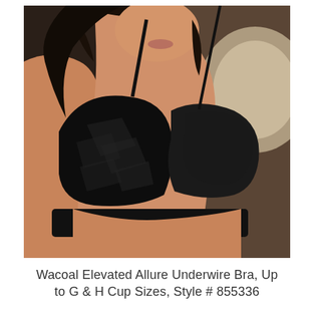[Figure (photo): Woman wearing a black Wacoal underwire bra with textured fabric pattern on the cups, dark background, photographed from chest up]
Wacoal Elevated Allure Underwire Bra, Up to G & H Cup Sizes, Style # 855336